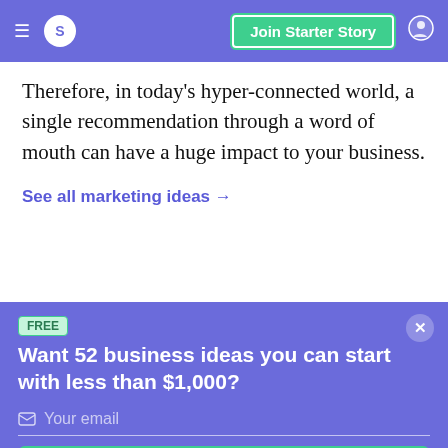Join Starter Story
Therefore, in today's hyper-connected world, a single recommendation through a word of mouth can have a huge impact to your business.
See all marketing ideas →
Want 52 business ideas you can start with less than $1,000?
Your email
Send Now